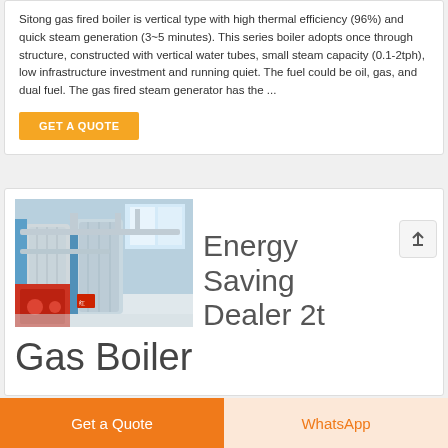Sitong gas fired boiler is vertical type with high thermal efficiency (96%) and quick steam generation (3~5 minutes). This series boiler adopts once through structure, constructed with vertical water tubes, small steam capacity (0.1-2tph), low infrastructure investment and running quiet. The fuel could be oil, gas, and dual fuel. The gas fired steam generator has the ...
GET A QUOTE
[Figure (photo): Industrial gas boiler equipment in a factory setting, showing large vertical cylindrical boiler units with blue casing and silver/white piping]
Energy Saving Dealer 2t Gas Boiler
Get a Quote
WhatsApp